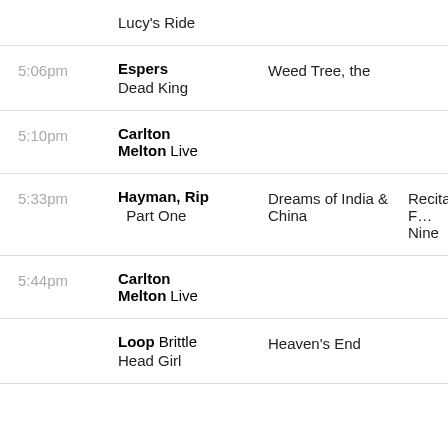| Time | Artist | Title | Extra |
| --- | --- | --- | --- |
|  | Lucy's Ride |  |  |
| 5:06pm | Espers / Dead King | Weed Tree, the |  |
| 5:10pm | Carlton Melton | Live |  |
| 5:33pm | Hayman, Rip / Part One | Dreams of India & China | Recital F… Nine |
| 5:44pm | Carlton Melton | Live |  |
|  | Loop / Brittle Head Girl | Heaven's End |  |